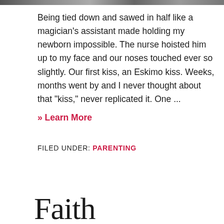[Figure (photo): Partial image strip at top of page, appears to be a cropped photo]
Being tied down and sawed in half like a magician's assistant made holding my newborn impossible. The nurse hoisted him up to my face and our noses touched ever so slightly. Our first kiss, an Eskimo kiss. Weeks, months went by and I never thought about that "kiss," never replicated it. One ...
» Learn More
FILED UNDER: PARENTING
Faith